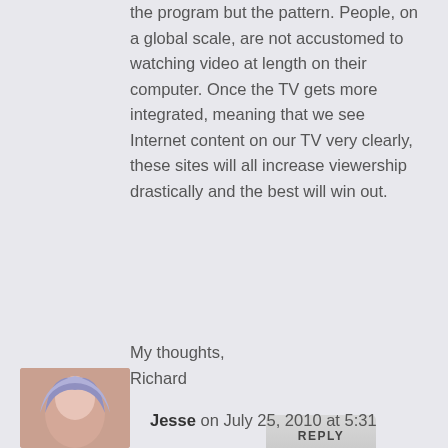the program but the pattern. People, on a global scale, are not accustomed to watching video at length on their computer. Once the TV gets more integrated, meaning that we see Internet content on our TV very clearly, these sites will all increase viewership drastically and the best will win out.
My thoughts,
Richard
REPLY
[Figure (photo): Avatar/profile photo thumbnail for commenter Jesse, partially visible at bottom-left corner]
Jesse on July 25, 2010 at 5:31